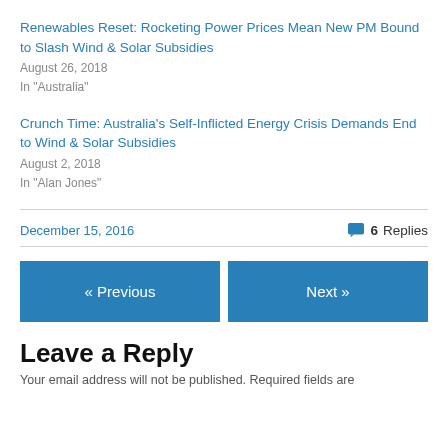Renewables Reset: Rocketing Power Prices Mean New PM Bound to Slash Wind & Solar Subsidies
August 26, 2018
In "Australia"
Crunch Time: Australia’s Self-Inflicted Energy Crisis Demands End to Wind & Solar Subsidies
August 2, 2018
In "Alan Jones"
December 15, 2016
6 Replies
« Previous
Next »
Leave a Reply
Your email address will not be published. Required fields are